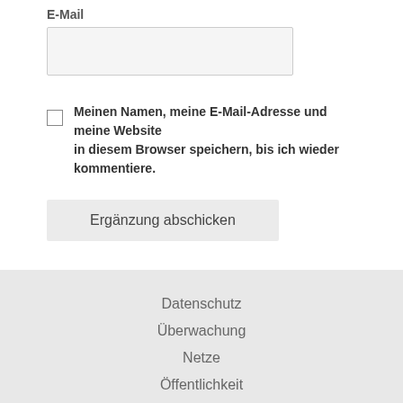E-Mail
[Figure (other): Empty text input field for E-Mail]
[Figure (other): Checkbox (unchecked)]
Meinen Namen, meine E-Mail-Adresse und meine Website in diesem Browser speichern, bis ich wieder kommentiere.
Ergänzung abschicken
Datenschutz
Überwachung
Netze
Öffentlichkeit